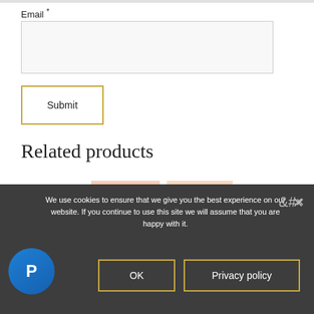Email *
[Figure (screenshot): Email input field (empty, light gray background)]
[Figure (screenshot): Submit button with gold/yellow border]
Related products
[Figure (photo): Two eyelash product boxes with pink packaging and gold band at bottom]
We use cookies to ensure that we give you the best experience on our website. If you continue to use this site we will assume that you are happy with it.
[Figure (logo): PayPal circular blue button with P logo]
OK
Privacy policy